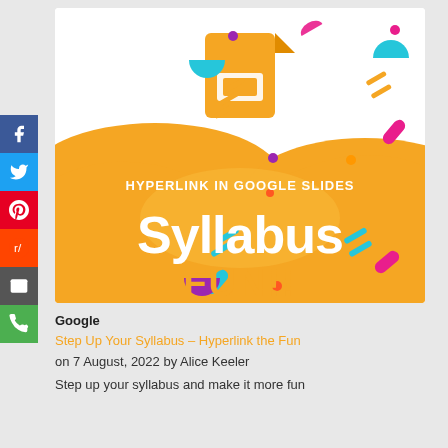[Figure (illustration): Promotional image for Google Slides hyperlink tutorial showing colorful decorative shapes, a Google Slides icon, orange gradient background with text 'HYPERLINK IN GOOGLE SLIDES' and large white text 'Syllabus' with orange 'FUN!!' below]
Google
Step Up Your Syllabus – Hyperlink the Fun
on 7 August, 2022 by Alice Keeler
Step up your syllabus and make it more fun